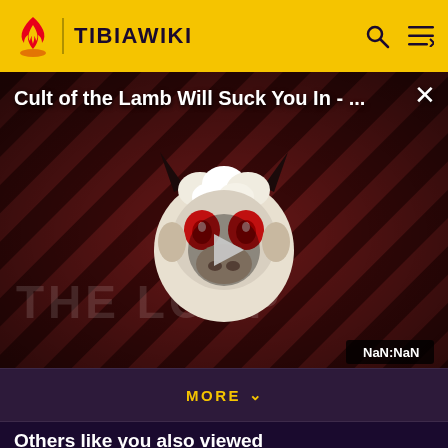TIBIAWIKI
[Figure (screenshot): Video thumbnail for 'Cult of the Lamb Will Suck You In - ...' with a cartoon character (cow/lamb with devil horns and red eyes), diagonal red stripes background, play button in center, 'THE LOOP' watermark, and NaN:NaN duration label. The Loop branding visible at bottom left.]
MORE
Others like you also viewed
[Figure (screenshot): Row of four thumbnail images for related articles, partially visible at bottom of page. Left and right navigation arrows in yellow circles.]